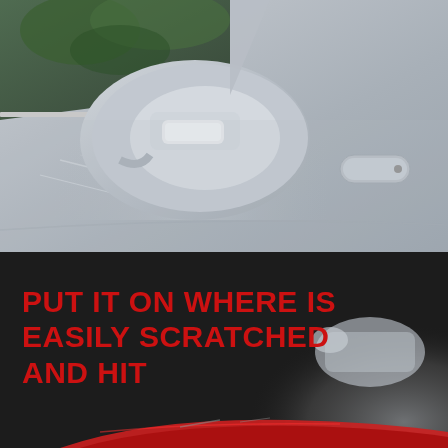[Figure (photo): Close-up photo of a silver/grey car door and side mirror. The car door panel shows light scratches and dust. The side mirror is prominent in the center-left of the image. Green foliage visible in background through car window.]
PUT IT ON WHERE IS EASILY SCRATCHED AND HIT
[Figure (photo): Bottom portion showing a dark background with two car images: a partial view of what appears to be a silver/white car with a side mirror visible on the right, and a partial view of the front of a red car at the bottom.]